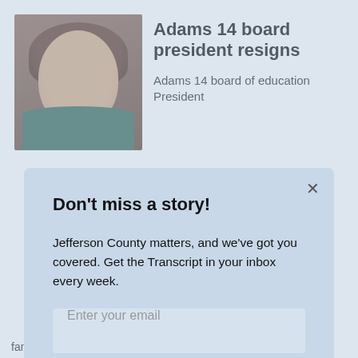Adams 14 board president resigns
Adams 14 board of education President
[Figure (photo): Portrait photo of a woman with brown hair wearing a teal/dark green jacket, taken against a brown background]
Don't miss a story!
Jefferson County matters, and we've got you covered. Get the Transcript in your inbox every week.
Enter your email
Sign up
family homes in the Denver metro area jumped up by